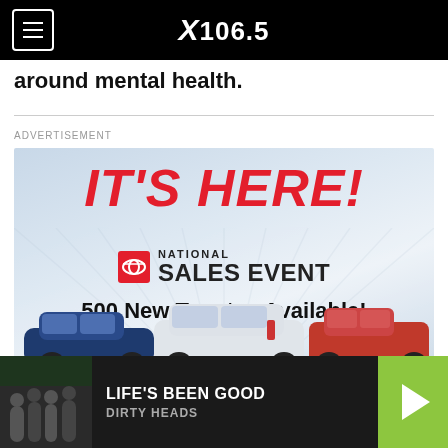X 106.5
around mental health.
ADVERTISEMENT
[Figure (illustration): Toyota National Sales Event advertisement. Red bold italic text reading IT'S HERE! with Toyota logo badge and text NATIONAL SALES EVENT. Below: 500 New Toyotas Available! Three Toyota vehicles shown (blue sedan, white SUV, red truck). Arlington Toyota branding and VIEW INVENTORY red button.]
LIFE'S BEEN GOOD
DIRTY HEADS